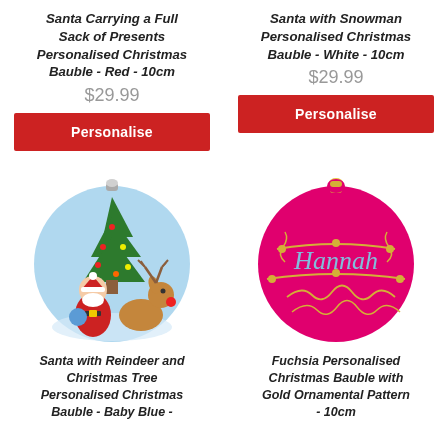Santa Carrying a Full Sack of Presents Personalised Christmas Bauble - Red - 10cm
$29.99
Personalise
Santa with Snowman Personalised Christmas Bauble - White - 10cm
$29.99
Personalise
[Figure (illustration): Blue Christmas bauble ornament with Santa and Reindeer next to a Christmas tree illustration]
[Figure (illustration): Fuchsia/pink Christmas bauble with gold ornamental pattern and the name 'Hannah' written in blue script]
Santa with Reindeer and Christmas Tree Personalised Christmas Bauble - Baby Blue -
Fuchsia Personalised Christmas Bauble with Gold Ornamental Pattern - 10cm